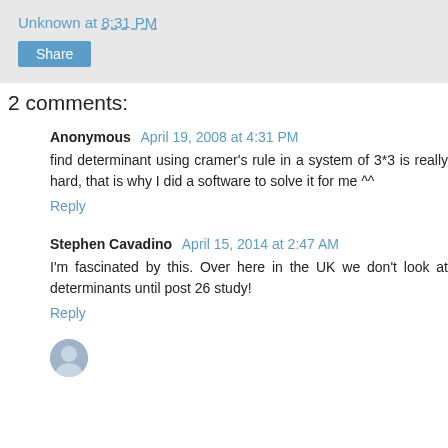Unknown at 8:31 PM
Share
2 comments:
Anonymous  April 19, 2008 at 4:31 PM
find determinant using cramer's rule in a system of 3*3 is really hard, that is why I did a software to solve it for me ^^
Reply
Stephen Cavadino  April 15, 2014 at 2:47 AM
I'm fascinated by this. Over here in the UK we don't look at determinants until post 26 study!
Reply